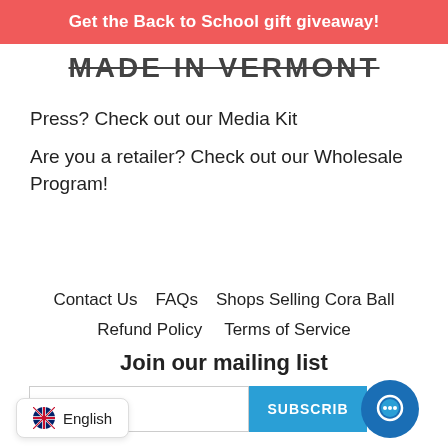Get the Back to School gift giveaway!
MADE IN VERMONT
Press? Check out our Media Kit
Are you a retailer? Check out our Wholesale Program!
Contact Us   FAQs   Shops Selling Cora Ball   Refund Policy   Terms of Service
Join our mailing list
English